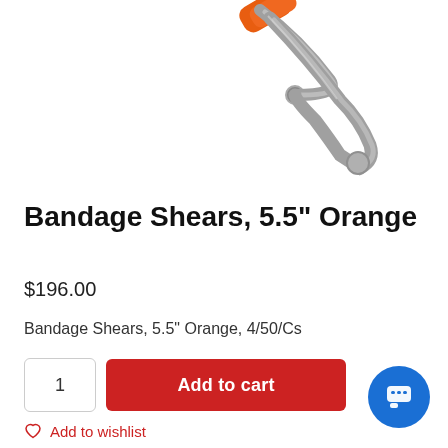[Figure (photo): Bandage shears/scissors with orange handle and silver/stainless steel blades, partially visible at top of page, angled diagonally]
Bandage Shears, 5.5" Orange
$196.00
Bandage Shears, 5.5" Orange, 4/50/Cs
1
Add to cart
Add to wishlist